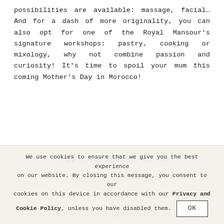possibilities are available: massage, facial… And for a dash of more originality, you can also opt for one of the Royal Mansour's signature workshops: pastry, cooking or mixology, why not combine passion and curiosity! It's time to spoil your mum this coming Mother's Day in Morocco!
+212 (0) 529 80 82 00 | spa@royalmansour.ma
+212 (0) 529 80 82 82 | restauration@royalmansour.ma
We use cookies to ensure that we give you the best experience on our website. By closing this message, you consent to our cookies on this device in accordance with our Privacy and Cookie Policy, unless you have disabled them. OK